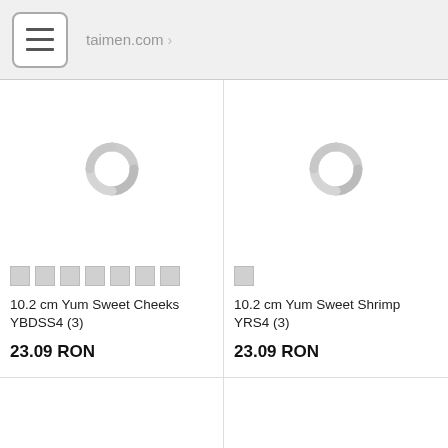taimen.com >
[Figure (screenshot): Product card: 10.2 cm Yum Sweet Cheeks YBDSS4 (3) with loading spinner and color swatches]
10.2 cm Yum Sweet Cheeks YBDSS4 (3)
23.09 RON
[Figure (screenshot): Product card: 10.2 cm Yum Sweet Shrimp YRS4 (3) with loading spinner and one color swatch]
10.2 cm Yum Sweet Shrimp YRS4 (3)
23.09 RON